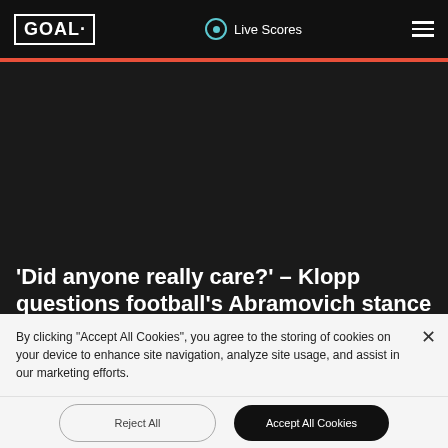GOAL · Live Scores
[Figure (photo): Dark image area placeholder on goal.com article page]
'Did anyone really care?' - Klopp questions football's Abramovich stance and calls for more checks on club owners
By clicking “Accept All Cookies”, you agree to the storing of cookies on your device to enhance site navigation, analyze site usage, and assist in our marketing efforts.